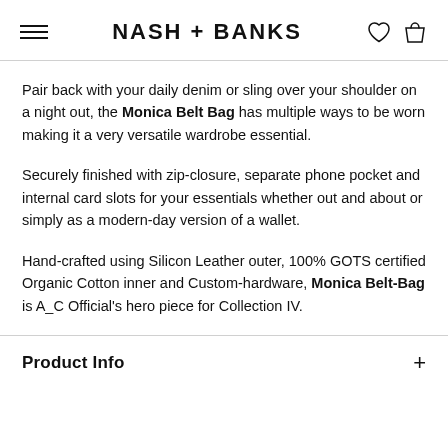NASH + BANKS
Pair back with your daily denim or sling over your shoulder on a night out, the Monica Belt Bag has multiple ways to be worn making it a very versatile wardrobe essential.
Securely finished with zip-closure, separate phone pocket and internal card slots for your essentials whether out and about or simply as a modern-day version of a wallet.
Hand-crafted using Silicon Leather outer, 100% GOTS certified Organic Cotton inner and Custom-hardware, Monica Belt-Bag is A_C Official's hero piece for Collection IV.
Product Info